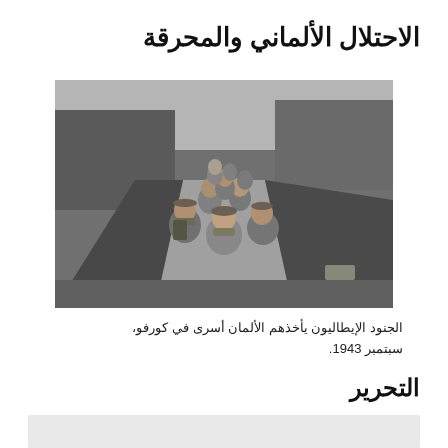الاحتلال الألماني والمحرقة
[Figure (photo): Black and white photograph of Italian soldiers being taken as prisoners of war by Germans in Corfu, September 1943. Soldiers are marching in a line carrying packs and equipment along a road.]
الجنود الإيطاليون يأخذهم الألمان أسرى في كورفو، سبتمبر 1943.
التحرير